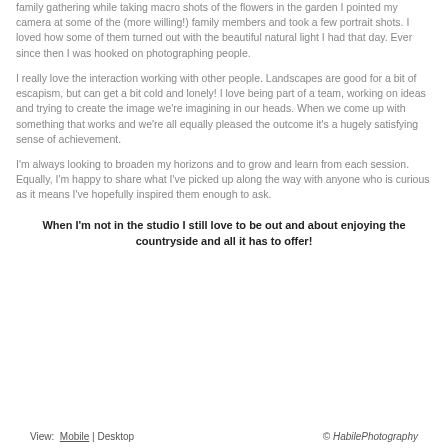family gathering while taking macro shots of the flowers in the garden I pointed my camera at some of the (more willing!) family members and took a few portrait shots. I loved how some of them turned out with the beautiful natural light I had that day. Ever since then I was hooked on photographing people.
I really love the interaction working with other people. Landscapes are good for a bit of escapism, but can get a bit cold and lonely! I love being part of a team, working on ideas and trying to create the image we're imagining in our heads. When we come up with something that works and we're all equally pleased the outcome it's a hugely satisfying sense of achievement.
I'm always looking to broaden my horizons and to grow and learn from each session. Equally, I'm happy to share what I've picked up along the way with anyone who is curious as it means I've hopefully inspired them enough to ask.
When I'm not in the studio I still love to be out and about enjoying the countryside and all it has to offer!
View: Mobile | Desktop   © HabilePhotography